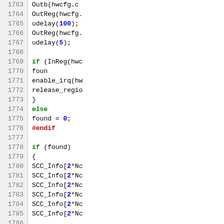[Figure (screenshot): Source code listing showing lines 1763-1789 of a C/C++ file. Line numbers appear in a gray sidebar on the left. Code includes preprocessor directives (#endif), control flow keywords (if, else), function calls (Outb, OutReg, udelay, InReg, enable_irq, release_region, found, SCC_Info, SCC_ctrl), and numeric literals (100, 5, 0, 2). Keywords are colored green, preprocessor directives red, and numeric literals blue.]